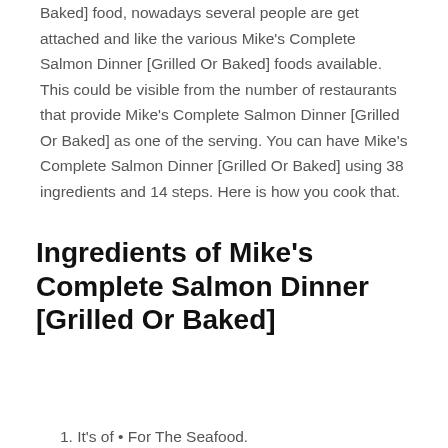Baked] food, nowadays several people are get attached and like the various Mike's Complete Salmon Dinner [Grilled Or Baked] foods available. This could be visible from the number of restaurants that provide Mike's Complete Salmon Dinner [Grilled Or Baked] as one of the serving. You can have Mike's Complete Salmon Dinner [Grilled Or Baked] using 38 ingredients and 14 steps. Here is how you cook that.
Ingredients of Mike's Complete Salmon Dinner [Grilled Or Baked]
1. It's of • For The Seafood.